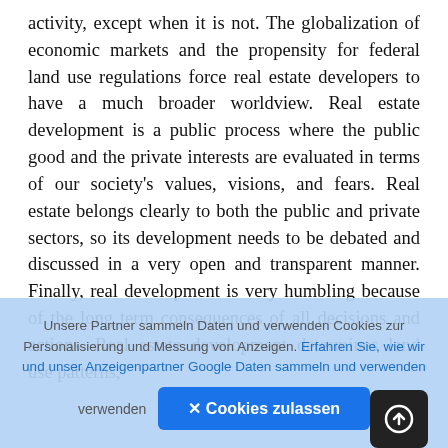activity, except when it is not. The globalization of economic markets and the propensity for federal land use regulations force real estate developers to have a much broader worldview. Real estate development is a public process where the public good and the private interests are evaluated in terms of our society's values, visions, and fears. Real estate belongs clearly to both the public and private sectors, so its development needs to be debated and discussed in a very open and transparent manner. Finally, real development is very humbling because of the long term consequences of all decisions and actions. Real estate development determines land use patterns,
[Figure (screenshot): Cookie consent overlay in German with blue background, asking users to allow cookies for personalization and ad measurement. Contains a blue 'Cookies zulassen' button and a link 'Erfahren Sie, wie wir und unser Anzeigenpartner Google Daten sammeln und verwenden'.]